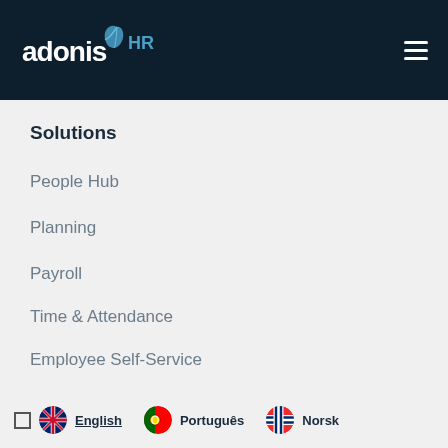[Figure (logo): Adonis HR logo — white stylized text 'adonis' with a blue feather/leaf accent, 'HR' in blue, on dark navy background. Hamburger menu icon top right.]
Solutions
People Hub
Planning
Payroll
Time & Attendance
Employee Self-Service
English  Português  Norsk